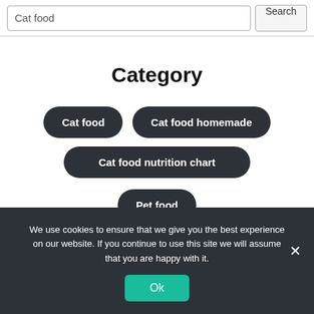[Figure (screenshot): Search bar with 'Cat food' text input and a 'Search' button on the right]
Category
Cat food
Cat food homemade
Cat food nutrition chart
Pet food
We use cookies to ensure that we give you the best experience on our website. If you continue to use this site we will assume that you are happy with it.